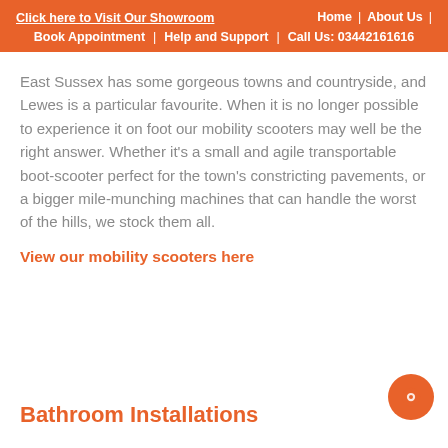Click here to Visit Our Showroom | Home | About Us | Book Appointment | Help and Support | Call Us: 03442161616
East Sussex has some gorgeous towns and countryside, and Lewes is a particular favourite. When it is no longer possible to experience it on foot our mobility scooters may well be the right answer. Whether it's a small and agile transportable boot-scooter perfect for the town's constricting pavements, or a bigger mile-munching machines that can handle the worst of the hills, we stock them all.
View our mobility scooters here
Bathroom Installations